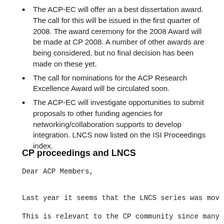The ACP-EC will offer an a best dissertation award. The call for this will be issued in the first quarter of 2008. The award ceremony for the 2008 Award will be made at CP 2008. A number of other awards are being considered, but no final decision has been made on these yet.
The call for nominations for the ACP Research Excellence Award will be circulated soon.
The ACP-EC will investigate opportunities to submit proposals to other funding agencies for networking/collaboration supports to develop integration. LNCS now listed on the ISI Proceedings index.
CP proceedings and LNCS
Dear ACP Members,
Last year it seems that the LNCS series was mov
This is relevant to the CP community since many